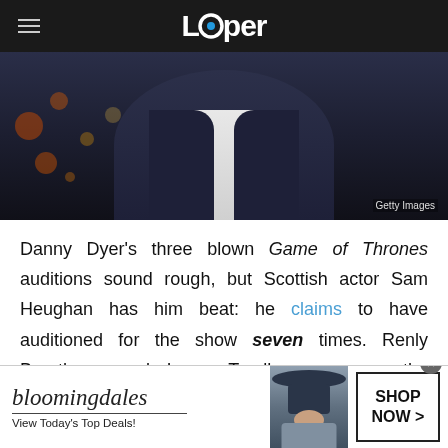Looper
[Figure (photo): Partial photo of a man in a dark navy suit jacket and white dress shirt, photographed at a night event with bokeh lights in the background. Credit: Getty Images.]
Danny Dyer's three blown Game of Thrones auditions sound rough, but Scottish actor Sam Heughan has him beat: he claims to have auditioned for the show seven times. Renly Baratheon and Loras Tyrell are among the characters he lost out on, as well as some members of the Night's Watch. "I'd always get so close," he lamented. "I'd be like,
[Figure (advertisement): Bloomingdale's advertisement banner. Text reads: bloomingdales / View Today's Top Deals! / SHOP NOW >. Shows a model wearing a wide-brimmed navy hat.]